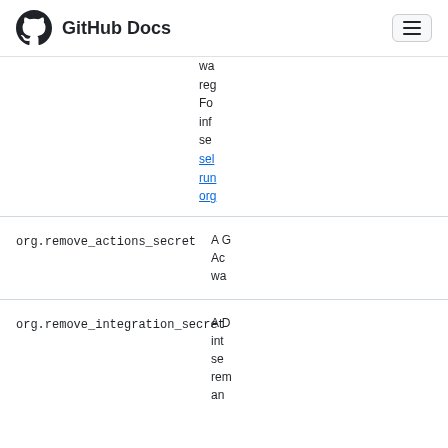GitHub Docs
wa
reg
Fo
inf
se
sel
run
org
org.remove_actions_secret
org.remove_integration_secret